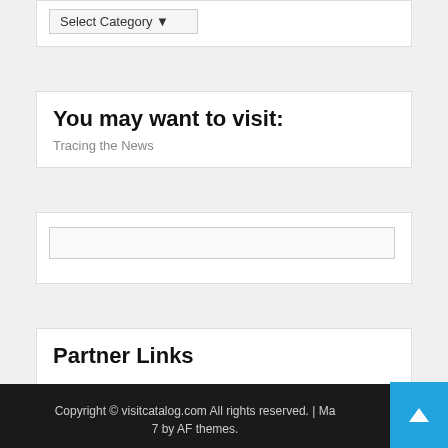Select Category
You may want to visit:
Tracing the News
Partner Links
Copyright © visitcatalog.com All rights reserved. | Ma... 7 by AF themes.